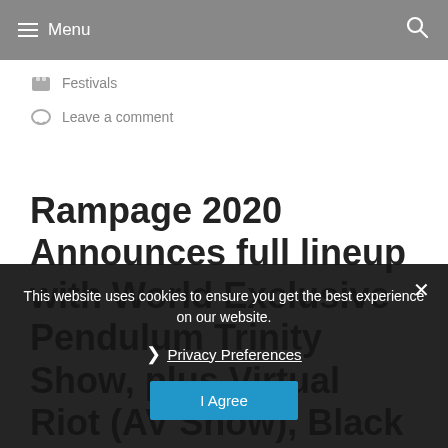≡ Menu
Festivals
Leave a comment
Rampage 2020 Announces full lineup with World Exclusive Pendulum Trinity Show, plus Virtual Riot (AV Show), Black Sun Empire, Camo&Krooked b2b Mefjus, Randall, Modestep (live),
This website uses cookies to ensure you get the best experience on our website.
Privacy Preferences
I Agree